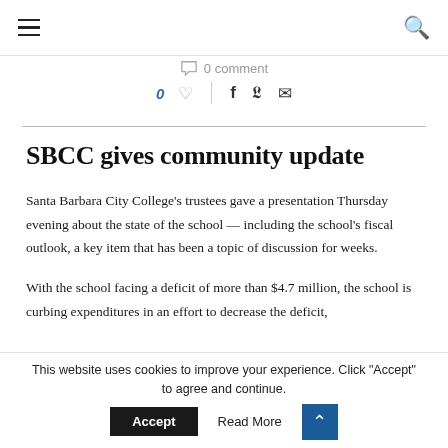≡  🔍
○ 0 comment
0 ♡  |  f  🐦  ✉
SBCC gives community update
Santa Barbara City College's trustees gave a presentation Thursday evening about the state of the school — including the school's fiscal outlook, a key item that has been a topic of discussion for weeks.
With the school facing a deficit of more than $4.7 million, the school is curbing expenditures in an effort to decrease the deficit,
This website uses cookies to improve your experience. Click "Accept" to agree and continue.   Accept   Read More